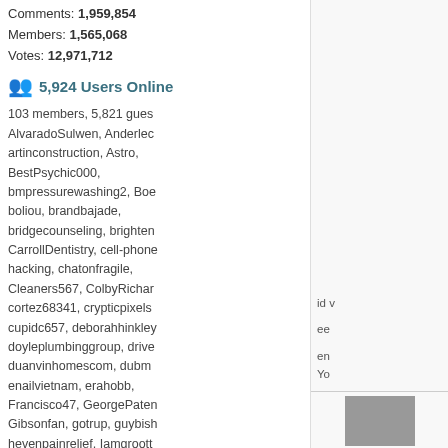Comments: 1,959,854
Members: 1,565,068
Votes: 12,971,712
5,924 Users Online
103 members, 5,821 guests
AlvaradoSulwen, Anderlec, artinconstruction, Astro, BestPsychic000, bmpressurewashing2, Boe, boliou, brandbajade, bridgecounseling, brighten, CarrollDentistry, cell-phone hacking, chatonfragile, Cleaners567, ColbyRichar, cortez68341, crypticpixels, cupidc657, deborahhinkley, doyleplumbinggroup, drive, duanvinhomescom, dubm, enailvietnam, erahobb, Francisco47, GeorgePater, Gibsonfan, gotrup, guybish, hevenpainrelief, Iamgroott, ianbose22, ikcinbots, infog, Installationvinyl11, jasongu, JokersStash, josephfirarae, jun8888, KayaXu8, khungnhomkinhvietphon..., kinggohan, Lalina, Lamam, leonbetappin, lertuiosq, lill, lirikmerch, maayash, macthanhvu, marquisbarki, mayapatil281995, McKinn, mikepaxson, missshweta, mistydaydream1, mod.CG, modzoro, mumtazdental, now888today, phaesic777